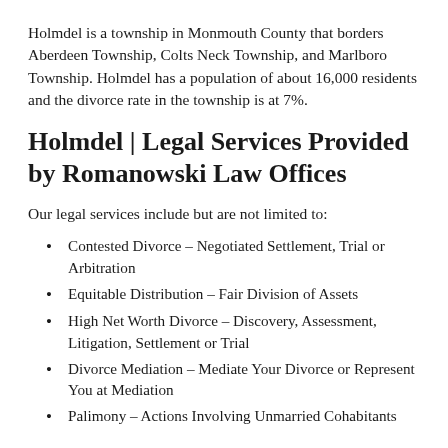Holmdel is a township in Monmouth County that borders Aberdeen Township, Colts Neck Township, and Marlboro Township. Holmdel has a population of about 16,000 residents and the divorce rate in the township is at 7%.
Holmdel | Legal Services Provided by Romanowski Law Offices
Our legal services include but are not limited to:
Contested Divorce – Negotiated Settlement, Trial or Arbitration
Equitable Distribution – Fair Division of Assets
High Net Worth Divorce – Discovery, Assessment, Litigation, Settlement or Trial
Divorce Mediation – Mediate Your Divorce or Represent You at Mediation
Palimony – Actions Involving Unmarried Cohabitants